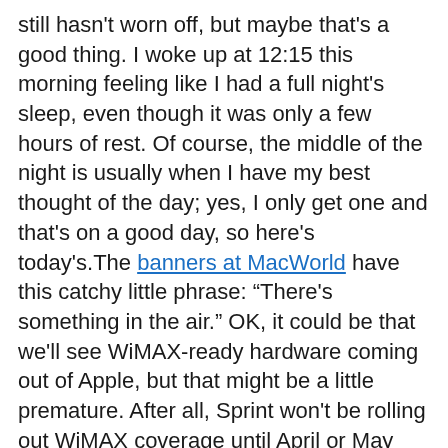still hasn't worn off, but maybe that's a good thing. I woke up at 12:15 this morning feeling like I had a full night's sleep, even though it was only a few hours of rest. Of course, the middle of the night is usually when I have my best thought of the day; yes, I only get one and that's on a good day, so here's today's.The banners at MacWorld have this catchy little phrase: “There's something in the air.” OK, it could be that we'll see WiMAX-ready hardware coming out of Apple, but that might be a little premature. After all, Sprint won't be rolling out WiMAX coverage until April or May and it's going to take a while to blanket the country. We know that the Apple iPhone SDK is appearing by next month and that one of the grudges folks have with the device is the lack of Flash support. Could it be that the iPhone will support a light version